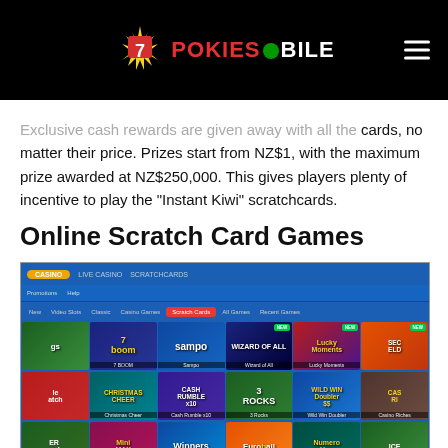POKIES MOBILE
Exclusive cash rewards are given away with all the cards, no matter their price. Prizes start from NZ$1, with the maximum prize awarded at NZ$250,000. This gives players plenty of incentive to play the "Instant Kiwi" scratchcards.
Online Scratch Card Games
[Figure (screenshot): Screenshot of an online casino website showing scratch card games including 7 Boom, Sampo, Wizard of All, Lucky Moments, Secrets of El Dorado, Christmas Cheer, Cash Rumble x10, 3 Rocks, Wild Win Doubler, Casino Riches, Mini Max, Winners, Euroball, Numero Uno, and others arranged in a grid layout.]